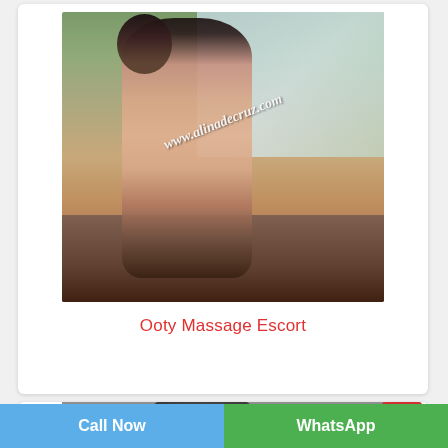[Figure (photo): Photo of a woman in a floral dress standing by a window with outdoor greenery visible, viewed from behind. Watermark reads www.alinadecruz.com]
Ooty Massage Escort
[Figure (photo): Partial photo of a person, only top of head visible, cropped at bottom of page]
Call Now
WhatsApp